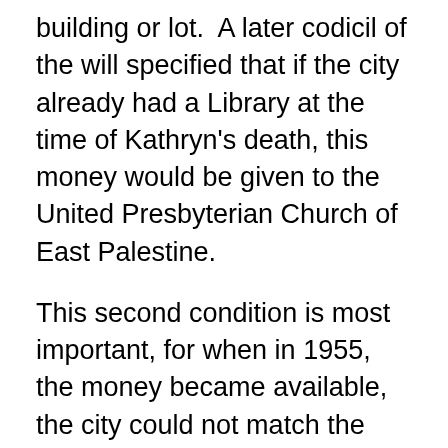building or lot.  A later codicil of the will specified that if the city already had a Library at the time of Kathryn's death, this money would be given to the United Presbyterian Church of East Palestine.
This second condition is most important, for when in 1955, the money became available, the city could not match the funds for the park and the Library had already been built and dedicated and thus the money went to the United Presbyterian Church of East Palestine. The matter was taken before Probate Judge Tobin, at which time the church representatives willingly requested that this portion be given to the Library to construct the rear section of the